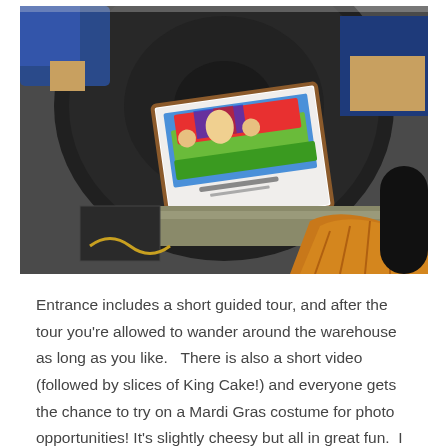[Figure (photo): A photo showing a person holding a large circular drum or wheel in an industrial warehouse setting. A printed photograph or poster depicting a Mardi Gras float is leaning against the drum. A worker wearing yellow leather gloves is visible in the lower right.]
Entrance includes a short guided tour, and after the tour you're allowed to wander around the warehouse as long as you like.   There is also a short video (followed by slices of King Cake!) and everyone gets the chance to try on a Mardi Gras costume for photo opportunities! It's slightly cheesy but all in great fun.  I really enjoyed our visit